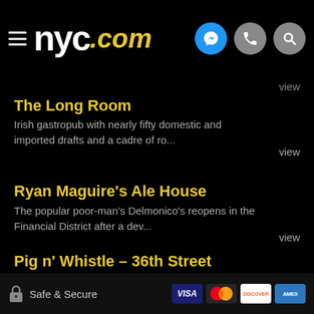nyc.com
view
The Long Room
Irish gastropub with nearly fifty domestic and imported drafts and a cadre of ro...
view
Ryan Maguire's Ale House
The popular poor-man's Delmonico's reopens in the Financial District after a dev...
view
Pig n' Whistle – 36th Street
Welcome to Pig n' Whistle! The original Pig n' Whistle...
Safe & Secure